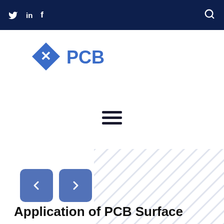Social media icons (Twitter, LinkedIn, Facebook) and search icon
[Figure (logo): XPCB logo — blue diamond shape with white X, followed by PCB text in blue]
[Figure (other): Hamburger menu icon (three horizontal lines)]
[Figure (other): Navigation previous and next arrow buttons (blue rounded squares with < and >)]
Application of PCB Surface